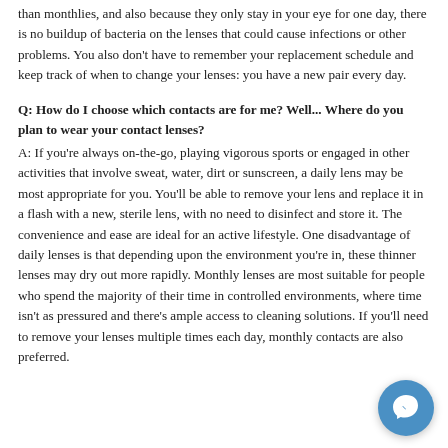than monthlies, and also because they only stay in your eye for one day, there is no buildup of bacteria on the lenses that could cause infections or other problems. You also don't have to remember your replacement schedule and keep track of when to change your lenses: you have a new pair every day.
Q: How do I choose which contacts are for me? Well... Where do you plan to wear your contact lenses? A: If you're always on-the-go, playing vigorous sports or engaged in other activities that involve sweat, water, dirt or sunscreen, a daily lens may be most appropriate for you. You'll be able to remove your lens and replace it in a flash with a new, sterile lens, with no need to disinfect and store it. The convenience and ease are ideal for an active lifestyle. One disadvantage of daily lenses is that depending upon the environment you're in, these thinner lenses may dry out more rapidly. Monthly lenses are most suitable for people who spend the majority of their time in controlled environments, where time isn't as pressured and there's ample access to cleaning solutions. If you'll need to remove your lenses multiple times each day, monthly contacts are also preferred.